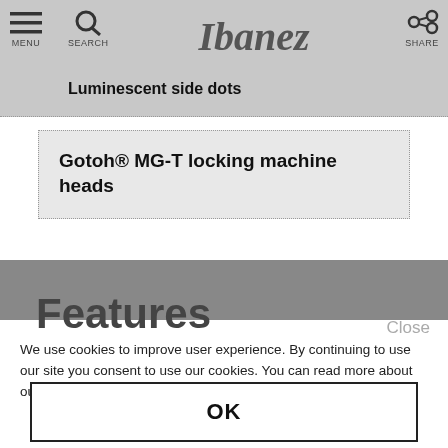Luminescent side dots
Gotoh® MG-T locking machine heads
Features
Close
We use cookies to improve user experience. By continuing to use our site you consent to use our cookies. You can read more about our Privacy Policy.
OK